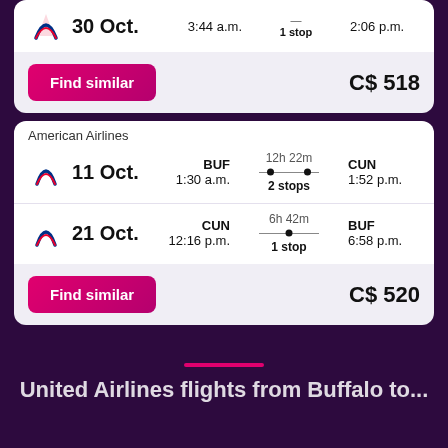30 Oct. — 3:44 a.m. — 1 stop — 2:06 p.m. — C$ 518
Find similar C$ 518
American Airlines
11 Oct. BUF 1:30 a.m. 12h 22m 2 stops CUN 1:52 p.m.
21 Oct. CUN 12:16 p.m. 6h 42m 1 stop BUF 6:58 p.m.
Find similar C$ 520
United Airlines flights from Buffalo to...